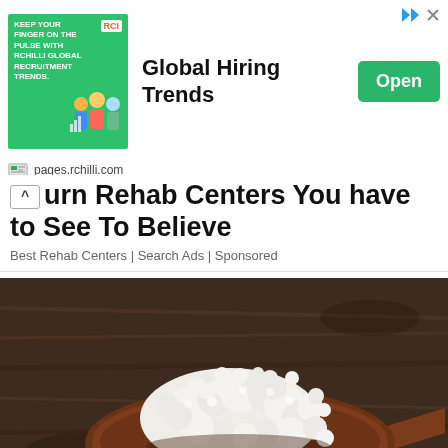[Figure (screenshot): Advertisement banner for RChilli Global Hiring Trends with green background graphic, 'Global Hiring Trends' text, and an 'Open' button. URL bar shows pages.rchilli.com]
urn Rehab Centers You have to See To Believe
Best Rehab Centers | Search Ads | Sponsored
[Figure (photo): Close-up photograph of white kefir grains piled on a dark wooden spoon against a rustic wooden background]